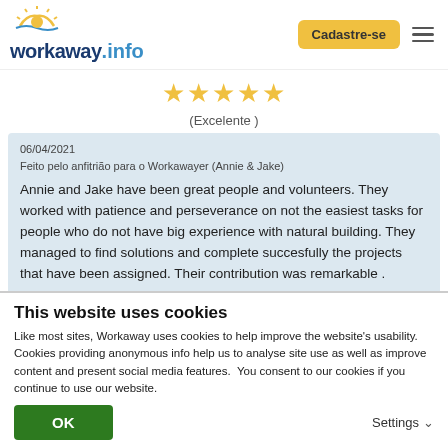[Figure (logo): Workaway.info logo with sun icon]
[Figure (other): Cadastre-se button and hamburger menu]
[Figure (other): Five gold stars rating]
(Excelente )
06/04/2021
Feito pelo anfitrião para o Workawayer (Annie & Jake)
Annie and Jake have been great people and volunteers. They worked with patience and perseverance on not the easiest tasks for people who do not have big experience with natural building. They managed to find solutions and complete succesfully the projects that have been assigned. Their contribution was remarkable .
They have been independent and... read more
This website uses cookies
Like most sites, Workaway uses cookies to help improve the website's usability. Cookies providing anonymous info help us to analyse site use as well as improve content and present social media features.  You consent to our cookies if you continue to use our website.
OK
Settings